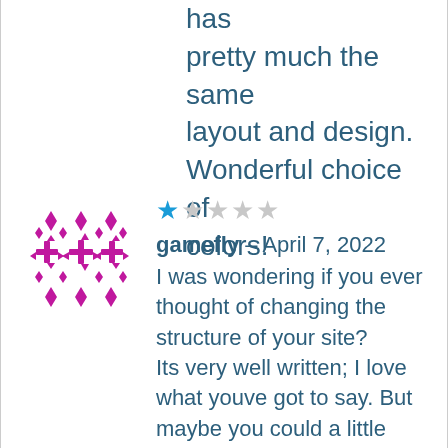has pretty much the same layout and design. Wonderful choice of colors!
[Figure (logo): Magenta/pink decorative pattern avatar with diamond and cross shapes]
★☆☆☆☆ gamefly – April 7, 2022 I was wondering if you ever thought of changing the structure of your site? Its very well written; I love what youve got to say. But maybe you could a little more